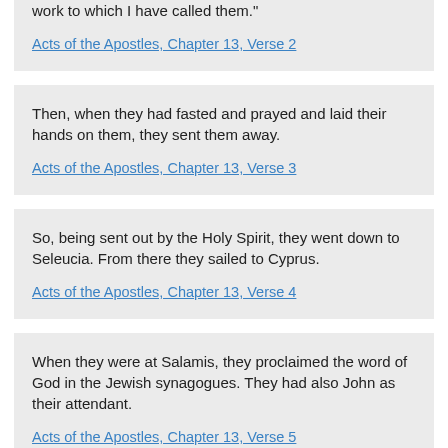work to which I have called them."
Acts of the Apostles, Chapter 13, Verse 2
Then, when they had fasted and prayed and laid their hands on them, they sent them away.
Acts of the Apostles, Chapter 13, Verse 3
So, being sent out by the Holy Spirit, they went down to Seleucia. From there they sailed to Cyprus.
Acts of the Apostles, Chapter 13, Verse 4
When they were at Salamis, they proclaimed the word of God in the Jewish synagogues. They had also John as their attendant.
Acts of the Apostles, Chapter 13, Verse 5